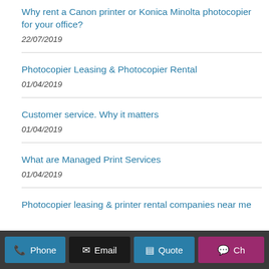Why rent a Canon printer or Konica Minolta photocopier for your office?
22/07/2019
Photocopier Leasing & Photocopier Rental
01/04/2019
Customer service. Why it matters
01/04/2019
What are Managed Print Services
01/04/2019
Photocopier leasing & printer rental companies near me
Phone   Email   Quote   Ch...